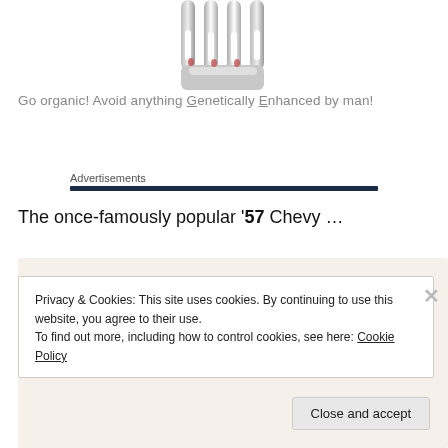[Figure (photo): Close-up photo of a metal fork (tines visible), partially cropped at top of page]
Go organic! Avoid anything Genetically Enhanced by man!
Advertisements
The once-famously popular ‘57 Chevy …
Privacy & Cookies: This site uses cookies. By continuing to use this website, you agree to their use.
To find out more, including how to control cookies, see here: Cookie Policy
Close and accept